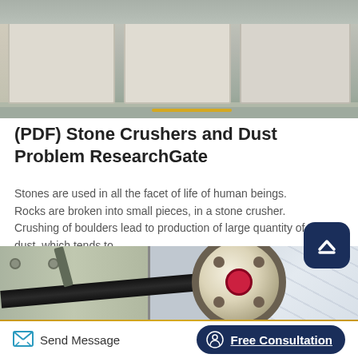[Figure (photo): Industrial stone crushing machines on factory floor, light-colored machinery with green/grey floor and yellow stripe]
(PDF) Stone Crushers and Dust Problem ResearchGate
Stones are used in all the facet of life of human beings. Rocks are broken into small pieces, in a stone crusher. Crushing of boulders lead to production of large quantity of dust, which tends to ...
[Figure (photo): Close-up of stone crusher pulley and belt mechanism, showing a large circular pulley with belt drive inside an industrial facility]
Send Message
Free Consultation